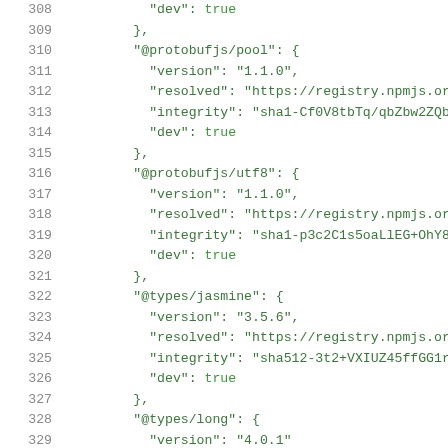Code listing lines 308-329, JSON package-lock content showing @protobufjs/pool, @protobufjs/utf8, @types/jasmine, @types/long entries with version, resolved, integrity, dev fields